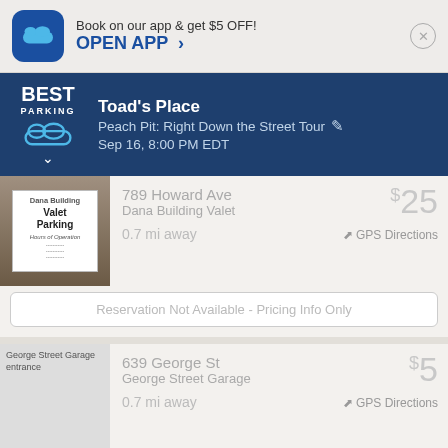Book on our app & get $5 OFF!
OPEN APP >
Toad's Place
Peach Pit: Right Down the Street Tour
Sep 16, 8:00 PM EDT
[Figure (screenshot): Valet Parking sign at Dana Building]
789 Howard Ave
Dana Building Valet
0.7 mi away
$25
GPS Directions
Reservation Not Available - Pricing Info Only
[Figure (screenshot): George Street Garage entrance]
639 George St
George Street Garage
0.7 mi away
$5
GPS Directions
Reservation Not Available - Pricing Info Only
[Figure (screenshot): Gateway Garage parking sign]
54 Meadow St
Gateway Garage
$10